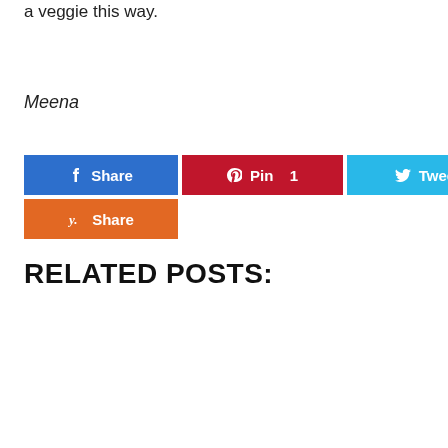a veggie this way.
Meena
[Figure (other): Social share buttons: Facebook Share, Pinterest Pin 1, Twitter Tweet, Yummly Share]
RELATED POSTS: